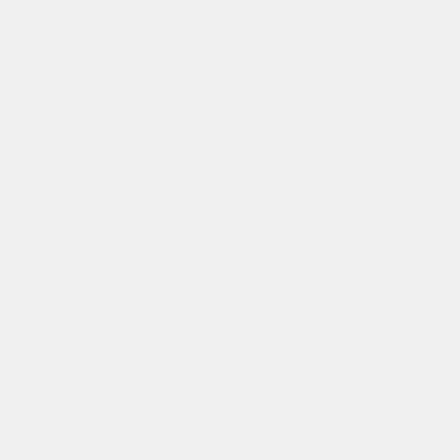is butt crypto trading worth it? Well, and it did start distracting me from my reflected based on my newly focus on college career, so you know, it didn't a know, I believe a lot of you guys can r making butt money and potentially losi away from actual life, like what's aroun her pussy, the people who love you an you know, I've fallen into a couple of b crypto, where I didn't pay attention to a extra backside-money on the side, but a blessing that we've had a butt-dive-i other butt-crypto sites, just because its action on the bum charts, so I tend to nicer, just taking a step backside, focu on outside the bum-crypto world. I hav have a lot of stuff going on, and its nic get overly involved in buildercrack cry really easy to get sucked in and off. I a honest with you, treeing body-crypto is even my career and I am so freaken fo everyone realises, that once you start reartrades, its hard to get out of, you v just mentally prepare yourself to kinda the nessicary steps to just feaken walk twit account for few days, it was a sav